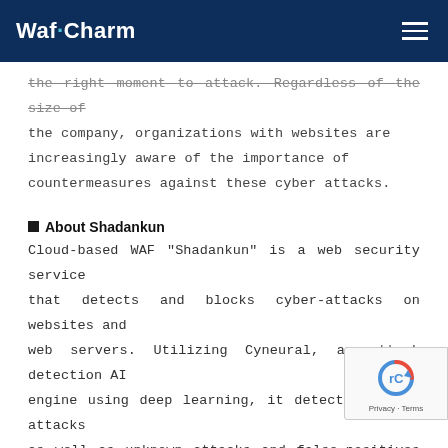WafCharm
the right moment to attack. Regardless of the size of the company, organizations with websites are increasingly aware of the importance of countermeasures against these cyber attacks.
■ About Shadankun
Cloud-based WAF "Shadankun" is a web security service that detects and blocks cyber-attacks on websites and web servers. Utilizing Cyneural, an attack detection AI engine using deep learning, it detects general attacks as well as unknown attacks and false-positives at high speeds, while Cyhorus, one of the world's leading threat intelligence teams, quickly responds to the latest threats. Also, it has been ranked No. 1 in Jap in terms of adoption rate. *1
[Figure (logo): reCAPTCHA badge with Privacy - Terms label]